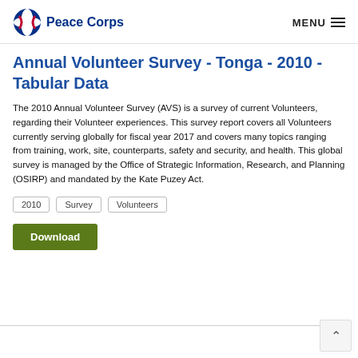Peace Corps | MENU
Annual Volunteer Survey - Tonga - 2010 - Tabular Data
The 2010 Annual Volunteer Survey (AVS) is a survey of current Volunteers, regarding their Volunteer experiences. This survey report covers all Volunteers currently serving globally for fiscal year 2017 and covers many topics ranging from training, work, site, counterparts, safety and security, and health. This global survey is managed by the Office of Strategic Information, Research, and Planning (OSIRP) and mandated by the Kate Puzey Act.
2010
Survey
Volunteers
Download